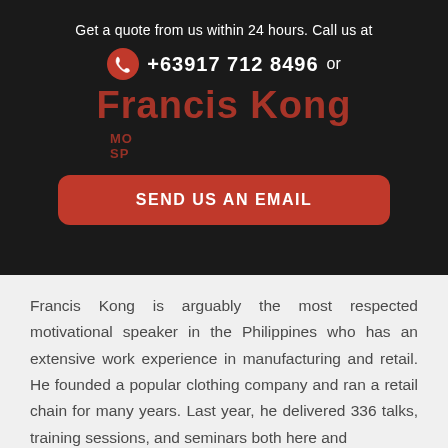Get a quote from us within 24 hours. Call us at
+63917 712 8496  or
Francis Kong
MOTIVATIONAL SPEAKER
SEND US AN EMAIL
Francis Kong is arguably the most respected motivational speaker in the Philippines who has an extensive work experience in manufacturing and retail. He founded a popular clothing company and ran a retail chain for many years. Last year, he delivered 336 talks, training sessions, and seminars both here and